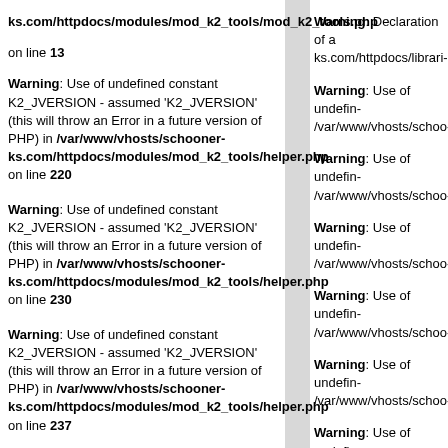ks.com/httpdocs/modules/mod_k2_tools/mod_k2_tools.php on line 13
Warning: Use of undefined constant K2_JVERSION - assumed 'K2_JVERSION' (this will throw an Error in a future version of PHP) in /var/www/vhosts/schooner-ks.com/httpdocs/modules/mod_k2_tools/helper.php on line 220
Warning: Use of undefined constant K2_JVERSION - assumed 'K2_JVERSION' (this will throw an Error in a future version of PHP) in /var/www/vhosts/schooner-ks.com/httpdocs/modules/mod_k2_tools/helper.php on line 230
Warning: Use of undefined constant K2_JVERSION - assumed 'K2_JVERSION' (this will throw an Error in a future version of PHP) in /var/www/vhosts/schooner-ks.com/httpdocs/modules/mod_k2_tools/helper.php on line 237
Warning: Declaration of a ks.com/httpdocs/librari-
Warning: Use of undefin- /var/www/vhosts/schoo-
Warning: Use of undefin- /var/www/vhosts/schoo-
Warning: Use of undefin- /var/www/vhosts/schoo-
Warning: Use of undefin- /var/www/vhosts/schoo-
Warning: Use of undefin- /var/www/vhosts/schoo-
Warning: Use of undefin- /var/www/vhosts/schoo-
Warning: Use of undefin-